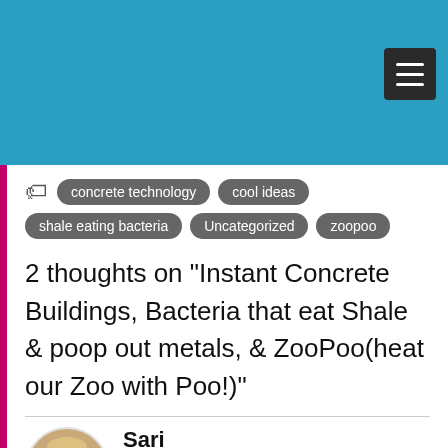concrete technology
cool ideas
shale eating bacteria
Uncategorized
zoopoo
2 thoughts on “Instant Concrete Buildings, Bacteria that eat Shale & poop out metals, & ZooPoo(heat our Zoo with Poo!)”
Sari
May 25, 2015 at 10:16
About Low Blood Pressure:
On the Periodic Table, the 2 elements that control blood pressure are Potassium & Aurum(Gold)...Potassiums lower it, Aurums raise it. Aurums are found in things with taurine. You can buy Taurine